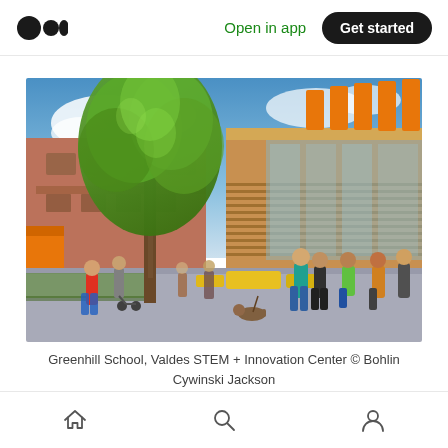Open in app | Get started
[Figure (illustration): Architectural rendering of Greenhill School, Valdes STEM + Innovation Center. Outdoor courtyard scene with a large tree, modern wooden-clad building with horizontal louvres on the right, children and adults walking through the space, yellow seating elements, open sky with clouds.]
Greenhill School, Valdes STEM + Innovation Center © Bohlin Cywinski Jackson
Home | Search | Profile